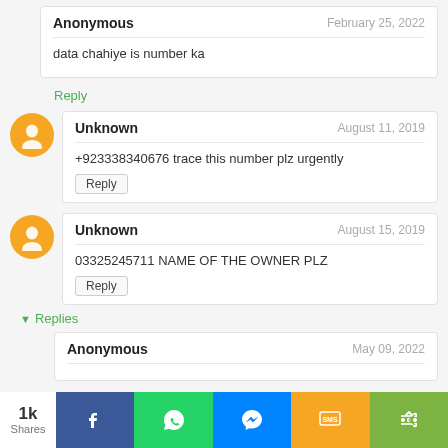Anonymous — February 25, 2022: data chahiye is number ka
Reply
Unknown — August 11, 2019: +923338340676 trace this number plz urgently
Reply
Unknown — August 15, 2019: 03325245711 NAME OF THE OWNER PLZ
Reply
▾ Replies
Anonymous — May 09, 2022
1k Shares